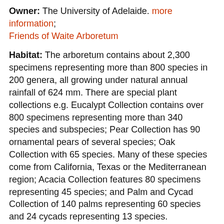Owner: The University of Adelaide. more information; Friends of Waite Arboretum
Habitat: The arboretum contains about 2,300 specimens representing more than 800 species in 200 genera, all growing under natural annual rainfall of 624 mm. There are special plant collections e.g. Eucalypt Collection contains over 800 specimens representing more than 340 species and subspecies; Pear Collection has 90 ornamental pears of several species; Oak Collection with 65 species. Many of these species come from California, Texas or the Mediterranean region; Acacia Collection features 80 specimens representing 45 species; and Palm and Cycad Collection of 140 palms representing 60 species and 24 cycads representing 13 species.
Total Species Recorded to Date: 61 (non-passerines 39, passerines 22)
Common Species: Australian Wood Duck, Crested Pigeon, Galah, Adelaide Rosella, Eastern Rosella